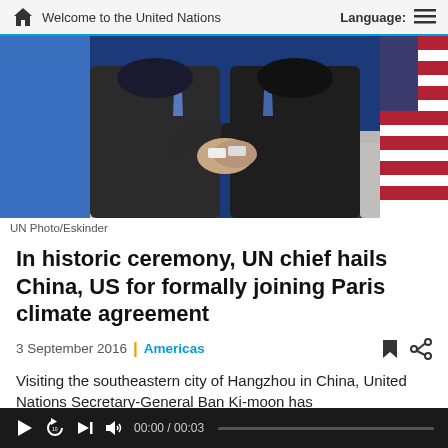Welcome to the United Nations | Language:
[Figure (photo): Two suited men shaking hands in front of an American flag, photographed from the torso down. UN Photo/Eskinder.]
UN Photo/Eskinder
In historic ceremony, UN chief hails China, US for formally joining Paris climate agreement
3 September 2016 | Americas
Visiting the southeastern city of Hangzhou in China, United Nations Secretary-General Ban Ki-moon has